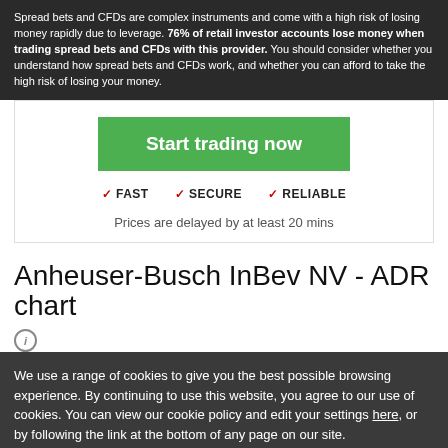Spread bets and CFDs are complex instruments and come with a high risk of losing money rapidly due to leverage. 76% of retail investor accounts lose money when trading spread bets and CFDs with this provider. You should consider whether you understand how spread bets and CFDs work, and whether you can afford to take the high risk of losing your money.
[Figure (other): Green 'Start trading now' button with checkmarks for FAST, SECURE, RELIABLE and text 'Prices are delayed by at least 20 mins']
Anheuser-Busch InBev NV - ADR chart
We use a range of cookies to give you the best possible browsing experience. By continuing to use this website, you agree to our use of cookies. You can view our cookie policy and edit your settings here, or by following the link at the bottom of any page on our site.